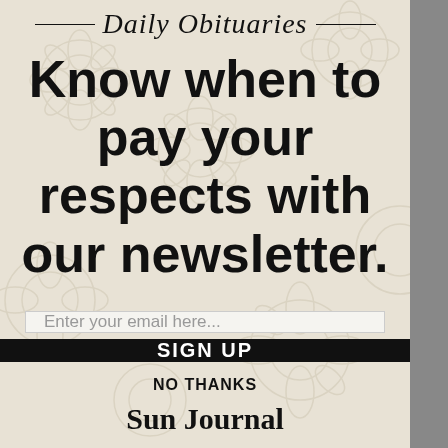— Daily Obituaries —
Know when to pay your respects with our newsletter.
Enter your email here...
SIGN UP
NO THANKS
Sun Journal
By providing your email address you consent to receive emails and offers from MaineToday Media